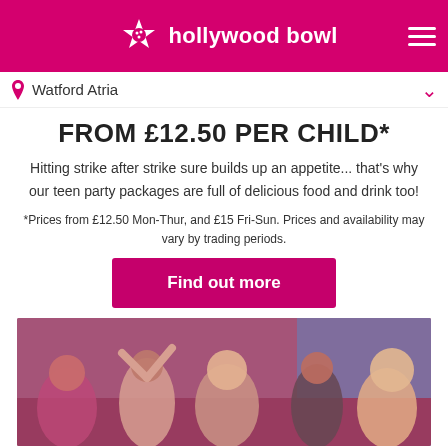Hollywood Bowl — Watford Atria
FROM £12.50 PER CHILD*
Hitting strike after strike sure builds up an appetite... that's why our teen party packages are full of delicious food and drink too!
*Prices from £12.50 Mon-Thur, and £15 Fri-Sun. Prices and availability may vary by trading periods.
Find out more
[Figure (photo): Group of teenagers celebrating at a bowling alley, high-fiving and laughing, colorful bowling alley background]